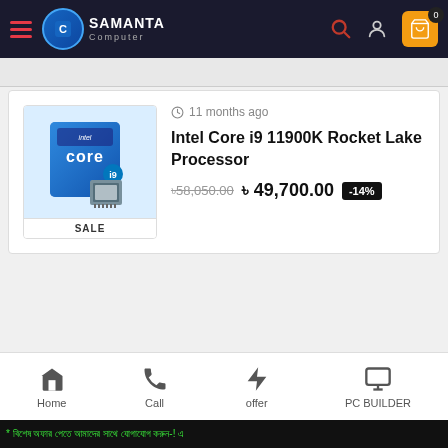Samanta Computer — navigation header with logo, search, user, and cart icons
[Figure (photo): Intel Core i9 11900K processor box (blue) with CPU chip in front, labeled SALE]
11 months ago
Intel Core i9 11900K Rocket Lake Processor
৳58,050.00  ৳ 49,700.00  -14%
Status: OUT OF STOCK
Main Features
Home | Call | offer | PC BUILDER
* ticker scrolling text in Bengali